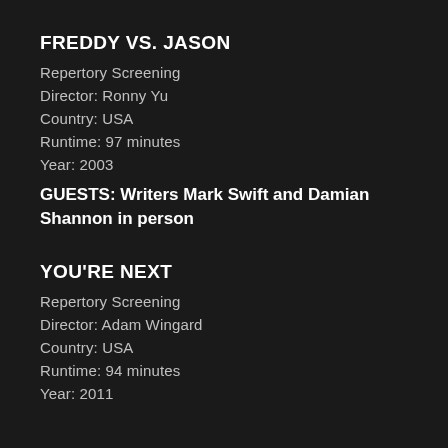FREDDY VS. JASON
Repertory Screening
Director: Ronny Yu
Country: USA
Runtime: 97 minutes
Year: 2003
GUESTS: Writers Mark Swift and Damian Shannon in person
YOU'RE NEXT
Repertory Screening
Director: Adam Wingard
Country: USA
Runtime: 94 minutes
Year: 2011